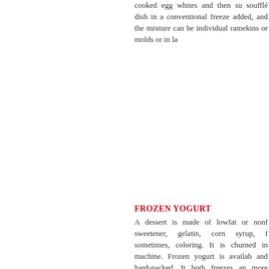cooked egg whites and then su soufflé dish in a conventional freeze added, and the mixture can be individual ramekins or molds or in la
FROZEN YOGURT
A dessert is made of lowfat or nonf sweetener, gelatin, corn syrup, f sometimes, coloring. It is churned in machine. Frozen yogurt is availab and hard-packed. It both freezes an more slowly than ice cream, since much higher freezing and melting po The beneficial bacteria, Lactobacill